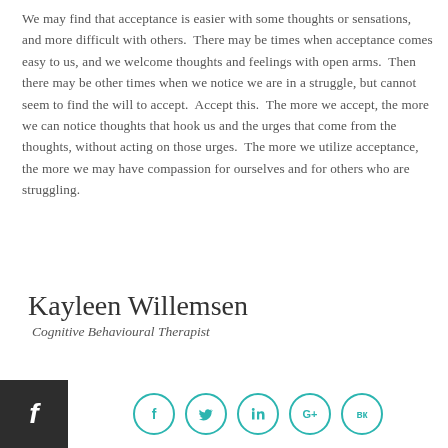We may find that acceptance is easier with some thoughts or sensations, and more difficult with others.  There may be times when acceptance comes easy to us, and we welcome thoughts and feelings with open arms.  Then there may be other times when we notice we are in a struggle, but cannot seem to find the will to accept.  Accept this.  The more we accept, the more we can notice thoughts that hook us and the urges that come from the thoughts, without acting on those urges.  The more we utilize acceptance, the more we may have compassion for ourselves and for others who are struggling.
Kayleen Willemsen
Cognitive Behavioural Therapist
[Figure (other): Social media footer bar with Facebook box on left and circular social icons (Facebook, Twitter, LinkedIn, Google+, VK) in teal on right]